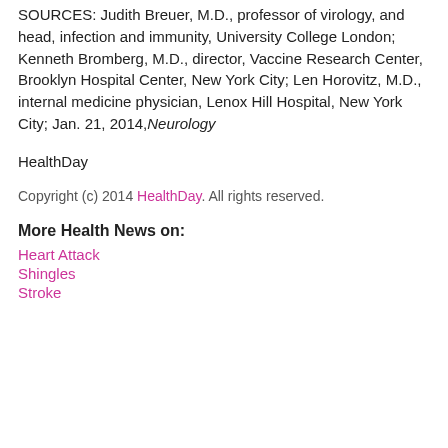SOURCES: Judith Breuer, M.D., professor of virology, and head, infection and immunity, University College London; Kenneth Bromberg, M.D., director, Vaccine Research Center, Brooklyn Hospital Center, New York City; Len Horovitz, M.D., internal medicine physician, Lenox Hill Hospital, New York City; Jan. 21, 2014, Neurology
HealthDay
Copyright (c) 2014 HealthDay. All rights reserved.
More Health News on:
Heart Attack
Shingles
Stroke